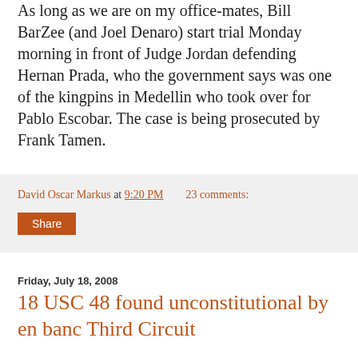As long as we are on my office-mates, Bill BarZee (and Joel Denaro) start trial Monday morning in front of Judge Jordan defending Hernan Prada, who the government says was one of the kingpins in Medellin who took over for Pablo Escobar. The case is being prosecuted by Frank Tamen.
David Oscar Markus at 9:20 PM   23 comments:
Share
Friday, July 18, 2008
18 USC 48 found unconstitutional by en banc Third Circuit
Via How Appealing: By a vote of 10 to 3, the en banc U.S. Court of Appeals for the Third Circuit holds unconstitutional a federal law criminalizing the sale of creation, sale, or possession of depictions of animal cruelty: You can access today's en banc ruling at this link.
According to the majority's opinion, the "case is the first